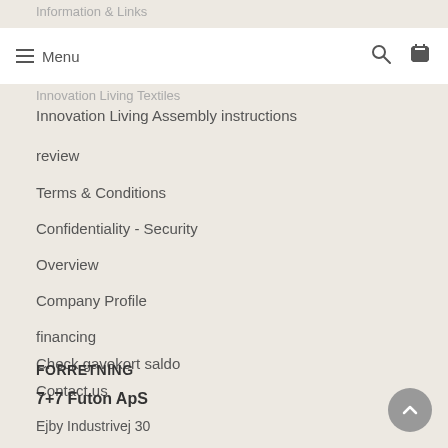Information & Links
Menu | Innovation Living Textiles
Innovation Living Assembly instructions
review
Terms & Conditions
Confidentiality - Security
Overview
Company Profile
financing
Check gavekort saldo
Contact us
FORRETNING
7+7 Futon ApS
Ejby Industrivej 30